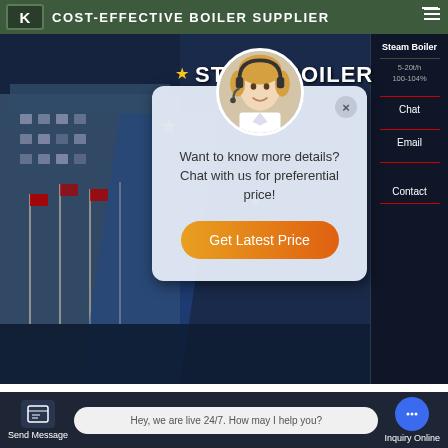COST-EFFECTIVE BOILER SUPPLIER
[Figure (screenshot): Website screenshot showing a boiler supplier page with a chat popup overlay. The popup has a female customer service representative avatar wearing a headset, yellow stars decoration, text 'Want to know more details? Chat with us for preferential price!', and an orange 'Get Latest Price' button. Background shows a building with flags and a STEAM BOILER product listing. Right sidebar has Chat, Email, Contact buttons.]
1t Coal Steam Boiler
Contact us now!
Contact us now!
Send Message   Hey, we are live 24/7. How may I help you?   Inquiry Online